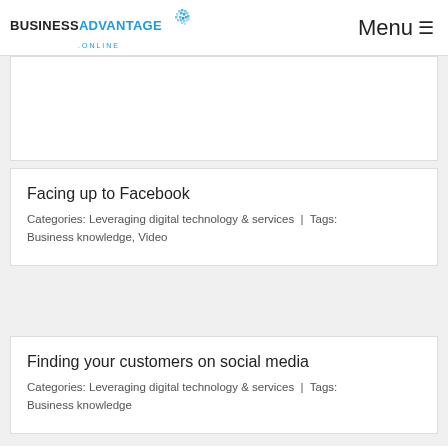BUSINESSADVANTAGE.ONLINE | Menu
Facing up to Facebook
Categories: Leveraging digital technology & services | Tags: Business knowledge, Video
Finding your customers on social media
Categories: Leveraging digital technology & services | Tags: Business knowledge